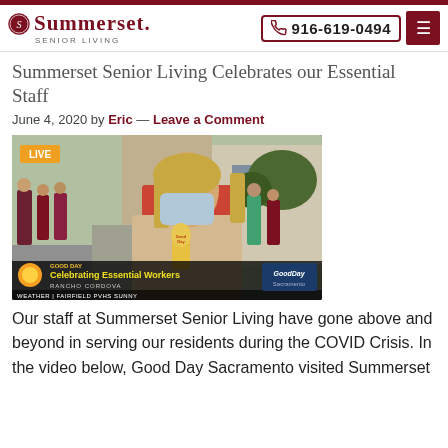Summerset Senior Living | 916-619-0494
Summerset Senior Living Celebrates our Essential Staff
June 4, 2020 by Eric — Leave a Comment
[Figure (photo): TV news screenshot from Good Day Sacramento showing a woman wearing a face mask being interviewed outdoors at Summerset Senior Living in Rancho Cordova. Lower-third graphic reads: 'GOOD DAY / Celebrating Essential Workers / RANCHO CORDOVA / WEATHER | FAIRFIELD PVHS SUNNY'. GoodDay logo visible at right. 'LIVE' badge in top-left corner.]
Our staff at Summerset Senior Living have gone above and beyond in serving our residents during the COVID Crisis. In the video below, Good Day Sacramento visited Summerset